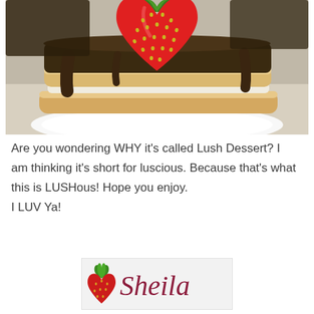[Figure (photo): Photo of pancakes stacked on a white plate with chocolate sauce drizzled on top and a heart-shaped strawberry placed on top of the stack]
Are you wondering WHY it's called Lush Dessert? I am thinking it's short for luscious. Because that's what this is LUSHous! Hope you enjoy. I LUV Ya!
[Figure (logo): Sheila signature logo with a strawberry icon and the name Sheila in cursive dark red script on a light gray background]